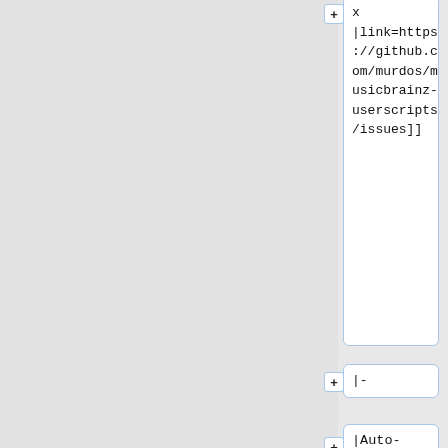x
|link=https://github.com/murdos/musicbrainz-userscripts/issues]]
|-
|Auto-Focus
+ Keyboard-Select
|MOUSE-LESS EDITING! Cleverly focuses fields in various musicbrainz edit pages and allow...